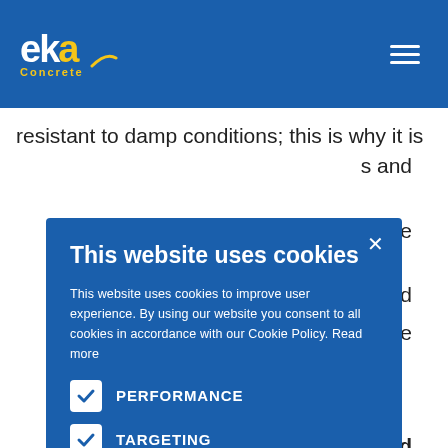EKA Concrete
resistant to damp conditions; this is why it is
s and
effective
skilled
re
This website uses cookies
This website uses cookies to improve user experience. By using our website you consent to all cookies in accordance with our Cookie Policy. Read more
PERFORMANCE
TARGETING
ACCEPT ALL
SHOW DETAILS
ced
concrete and every measure is taken to